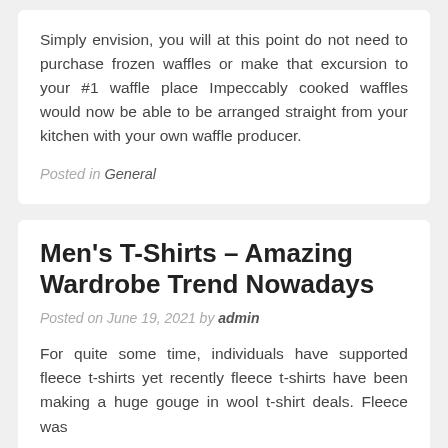Simply envision, you will at this point do not need to purchase frozen waffles or make that excursion to your #1 waffle place Impeccably cooked waffles would now be able to be arranged straight from your kitchen with your own waffle producer.
Posted in General
Men's T-Shirts – Amazing Wardrobe Trend Nowadays
Posted on June 19, 2021 by admin
For quite some time, individuals have supported fleece t-shirts yet recently fleece t-shirts have been making a huge gouge in wool t-shirt deals. Fleece was...